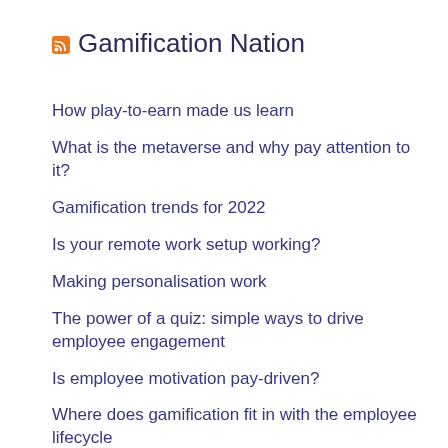Gamification Nation
How play-to-earn made us learn
What is the metaverse and why pay attention to it?
Gamification trends for 2022
Is your remote work setup working?
Making personalisation work
The power of a quiz: simple ways to drive employee engagement
Is employee motivation pay-driven?
Where does gamification fit in with the employee lifecycle
Creating employee connection in a digital world
Exciting news ahead